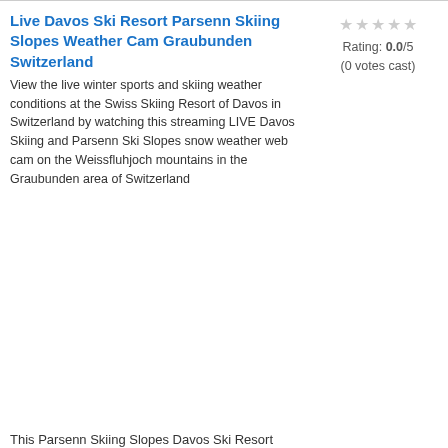Live Davos Ski Resort Parsenn Skiing Slopes Weather Cam Graubunden Switzerland
View the live winter sports and skiing weather conditions at the Swiss Skiing Resort of Davos in Switzerland by watching this streaming LIVE Davos Skiing and Parsenn Ski Slopes snow weather web cam on the Weissfluhjoch mountains in the Graubunden area of Switzerland
Rating: 0.0/5 (0 votes cast)
This Parsenn Skiing Slopes Davos Ski Resort